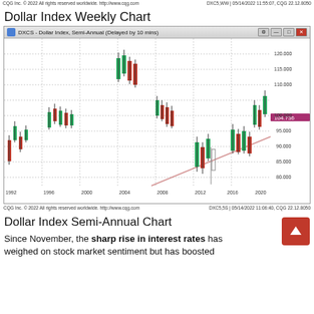CQG Inc. © 2022 All rights reserved worldwide. http://www.cqg.com    DXC5,WW | 05/14/2022 11:55:07, CQG 22.12.8050
Dollar Index Weekly Chart
[Figure (continuous-plot): Semi-annual candlestick chart of Dollar Index (DXC5) from 1992 to 2022, showing price ranging roughly 70-120. Current price marked at 104.736. Upward trendline visible from 2008 lows. Window title: DXCS - Dollar Index, Semi-Annual (Delayed by 10 mins).]
CQG Inc. © 2022 All rights reserved worldwide. http://www.cqg.com    DXC5,5S | 05/14/2022 11:06:40, CQG 22.12.8050
Dollar Index Semi-Annual Chart
Since November, the sharp rise in interest rates has weighed on stock market sentiment but has boosted